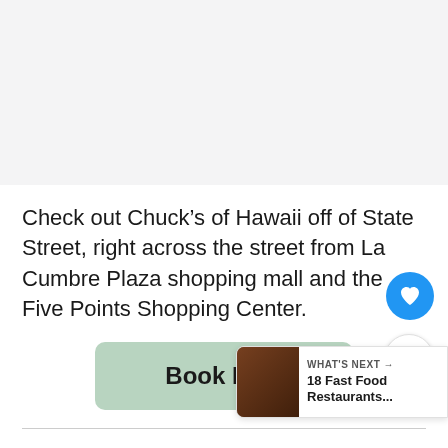[Figure (photo): Light gray placeholder image area at top of page]
Check out Chuck's of Hawaii off of State Street, right across the street from La Cumbre Plaza shopping mall and the Five Points Shopping Center.
[Figure (other): Green 'Book Now' button]
El Paseo Restaurant